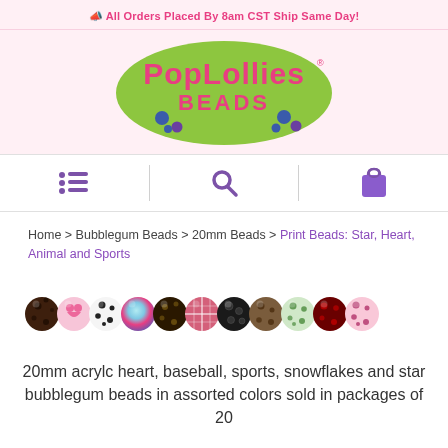All Orders Placed By 8am CST Ship Same Day!
[Figure (logo): PopLollies Beads logo — pink bubbly lettering on a green oval background with colorful beads]
[Figure (infographic): Navigation bar with three icons: hamburger menu (purple lines), search (purple magnifying glass), and shopping bag (purple bag)]
Home > Bubblegum Beads > 20mm Beads > Print Beads: Star, Heart, Animal and Sports
[Figure (photo): A row of 13 colorful 20mm bubblegum beads with various animal and sports print patterns including leopard, heart, dalmatian, galaxy, baseball, plaid, cheetah, green spots, and red patterns]
20mm acrylc heart, baseball, sports, snowflakes and star bubblegum beads in assorted colors sold in packages of 20